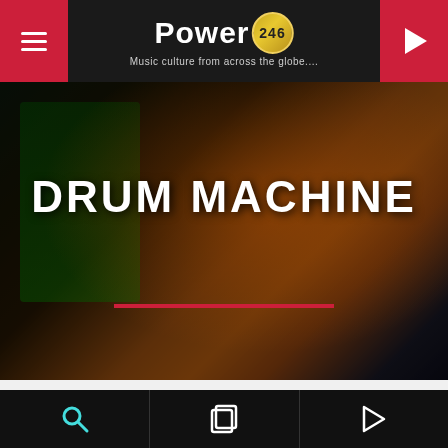Power 246 — Music culture from across the globe....
DRUM MACHINE
[Figure (screenshot): Social media sharing bar with icons for Facebook, Twitter, Pinterest, LinkedIn, WhatsApp, and a red heart/love button]
Navigation bar with search, layers, and play icons